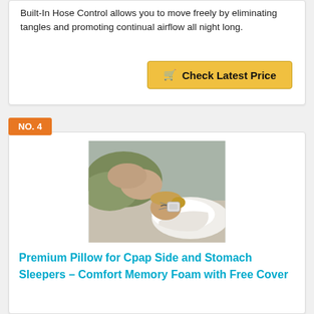Built-In Hose Control allows you to move freely by eliminating tangles and promoting continual airflow all night long.
Check Latest Price
NO. 4
[Figure (photo): Woman sleeping on her side using a CPAP mask with a white ergonomic pillow]
Premium Pillow for Cpap Side and Stomach Sleepers – Comfort Memory Foam with Free Cover